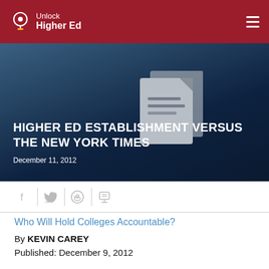Unlock Higher Ed
HIGHER ED ESTABLISHMENT VERSUS THE NEW YORK TIMES
December 11, 2012
[Figure (illustration): Document/pages icon illustration in gray tones]
[Figure (infographic): Social sharing icons: Facebook, Twitter, Reddit, Print]
Who Will Hold Colleges Accountable?
By KEVIN CAREY
Published: December 9, 2012